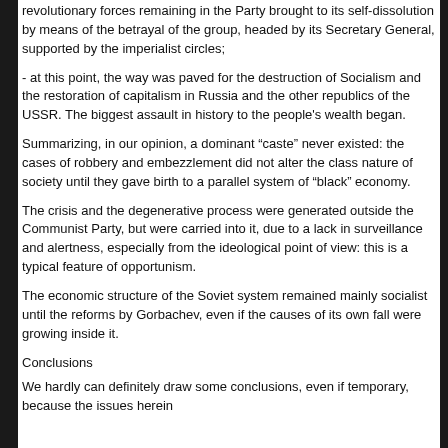revolutionary forces remaining in the Party brought to its self-dissolution by means of the betrayal of the group, headed by its Secretary General, supported by the imperialist circles;
- at this point, the way was paved for the destruction of Socialism and the restoration of capitalism in Russia and the other republics of the USSR. The biggest assault in history to the people's wealth began.
Summarizing, in our opinion, a dominant “caste” never existed: the cases of robbery and embezzlement did not alter the class nature of society until they gave birth to a parallel system of “black” economy.
The crisis and the degenerative process were generated outside the Communist Party, but were carried into it, due to a lack in surveillance and alertness, especially from the ideological point of view: this is a typical feature of opportunism.
The economic structure of the Soviet system remained mainly socialist until the reforms by Gorbachev, even if the causes of its own fall were growing inside it.
Conclusions
We hardly can definitely draw some conclusions, even if temporary, because the issues herein
deserve the most accurate study in order to synthesize various experiences in different countries. Nonetheless, avoiding to answer the question highlighted in this work, is an obstacle to the ideological relaunch of the international Communist movement.
T... [continues]